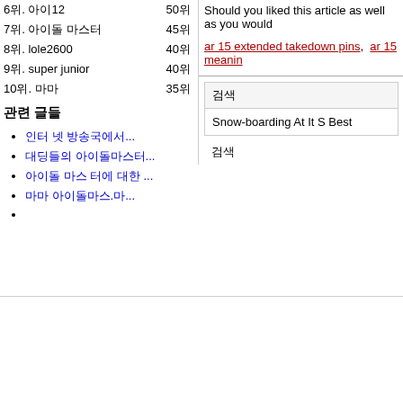6위. 아이12   50위
7위. 아이돌 마스터   45위
8위. lole2600   40위
9위. super junior   40위
10위. 마마   35위
관련 글들
인터 넷 방송국에서...
대딩들의 아이돌마스...
아이돌 마스 터에 대한 ...
마마 아이돌마스.마...
Should you liked this article as well as you would
ar 15 extended takedown pins,  ar 15 meanin
검색
Snow-boarding At It S Best
검색